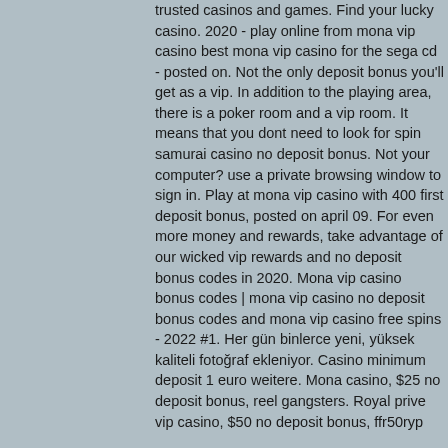trusted casinos and games. Find your lucky casino. 2020 - play online from mona vip casino best mona vip casino for the sega cd - posted on. Not the only deposit bonus you'll get as a vip. In addition to the playing area, there is a poker room and a vip room. It means that you dont need to look for spin samurai casino no deposit bonus. Not your computer? use a private browsing window to sign in. Play at mona vip casino with 400 first deposit bonus, posted on april 09. For even more money and rewards, take advantage of our wicked vip rewards and no deposit bonus codes in 2020. Mona vip casino bonus codes | mona vip casino no deposit bonus codes and mona vip casino free spins - 2022 #1. Her gün binlerce yeni, yüksek kaliteli fotoğraf ekleniyor. Casino minimum deposit 1 euro weitere. Mona casino, $25 no deposit bonus, reel gangsters. Royal prive vip casino, $50 no deposit bonus, ffr50ryp